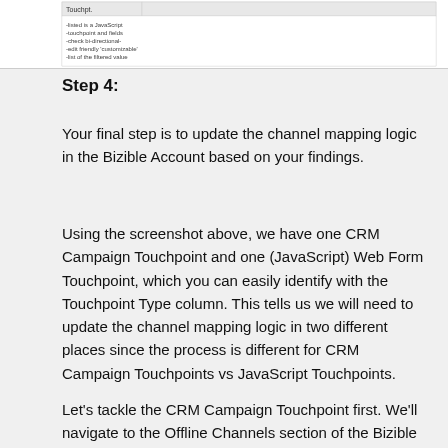[Figure (screenshot): Screenshot of a table showing touchpoint data with columns including Touchpoint Type. Small text visible in upper left corner of screenshot strip.]
Step 4:
Your final step is to update the channel mapping logic in the Bizible Account based on your findings.
Using the screenshot above, we have one CRM Campaign Touchpoint and one (JavaScript) Web Form Touchpoint, which you can easily identify with the Touchpoint Type column. This tells us we will need to update the channel mapping logic in two different places since the process is different for CRM Campaign Touchpoints vs JavaScript Touchpoints.
Let’s tackle the CRM Campaign Touchpoint first. We’ll navigate to the Offline Channels section of the Bizible app